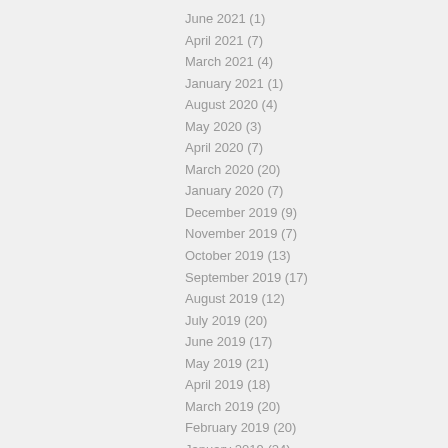June 2021 (1)
April 2021 (7)
March 2021 (4)
January 2021 (1)
August 2020 (4)
May 2020 (3)
April 2020 (7)
March 2020 (20)
January 2020 (7)
December 2019 (9)
November 2019 (7)
October 2019 (13)
September 2019 (17)
August 2019 (12)
July 2019 (20)
June 2019 (17)
May 2019 (21)
April 2019 (18)
March 2019 (20)
February 2019 (20)
January 2019 (24)
December 2018 (19)
November 2018 (18)